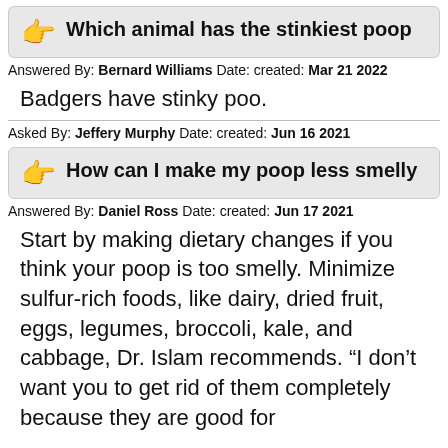Which animal has the stinkiest poop
Answered By: Bernard Williams Date: created: Mar 21 2022
Badgers have stinky poo.
Asked By: Jeffery Murphy Date: created: Jun 16 2021
How can I make my poop less smelly
Answered By: Daniel Ross Date: created: Jun 17 2021
Start by making dietary changes if you think your poop is too smelly. Minimize sulfur-rich foods, like dairy, dried fruit, eggs, legumes, broccoli, kale, and cabbage, Dr. Islam recommends. “I don’t want you to get rid of them completely because they are good for